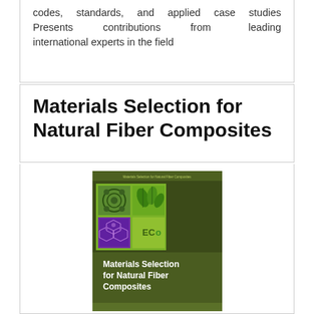codes, standards, and applied case studies Presents contributions from leading international experts in the field
Materials Selection for Natural Fiber Composites
[Figure (illustration): Book cover of 'Materials Selection for Natural Fiber Composites' featuring dark olive green background with a 2x2 grid of nature/fiber images (cellular structures, green leaves, purple mesh, ECO logo) and bold white title text on the lower portion.]